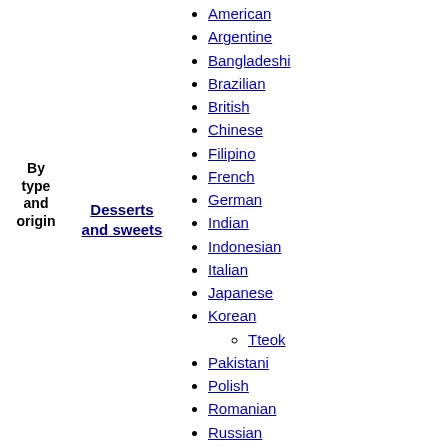By type and origin
Desserts and sweets
American
Argentine
Bangladeshi
Brazilian
British
Chinese
Filipino
French
German
Indian
Indonesian
Italian
Japanese
Korean
Tteok
Pakistani
Polish
Romanian
Russian
Spanish
Sri Lankan
Thai
Turkish